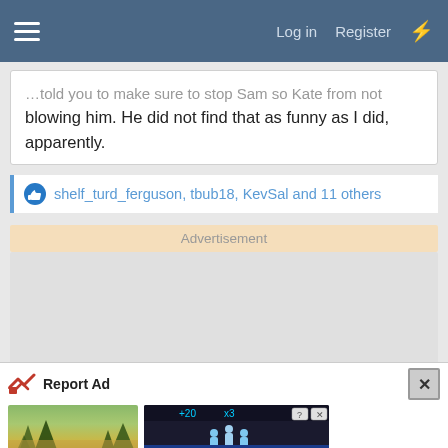Log in  Register
blowing him. He did not find that as funny as I did, apparently.
shelf_turd_ferguson, tbub18, KevSal and 11 others
Advertisement
[Figure (screenshot): Advertisement banner area - large grey empty space]
Report Ad
[Figure (photo): Forest/outdoor scene on left, game app ad on right showing Hold and Move with player icons and score display]